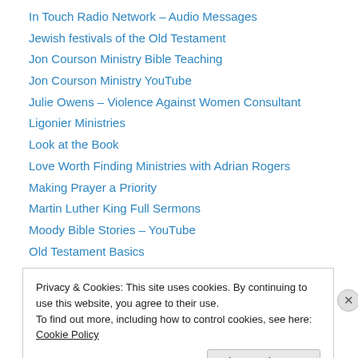In Touch Radio Network – Audio Messages
Jewish festivals of the Old Testament
Jon Courson Ministry Bible Teaching
Jon Courson Ministry YouTube
Julie Owens – Violence Against Women Consultant
Ligonier Ministries
Look at the Book
Love Worth Finding Ministries with Adrian Rogers
Making Prayer a Priority
Martin Luther King Full Sermons
Moody Bible Stories – YouTube
Old Testament Basics
On-Line Small Group Bible Study
Privacy & Cookies: This site uses cookies. By continuing to use this website, you agree to their use.
To find out more, including how to control cookies, see here: Cookie Policy
Close and accept